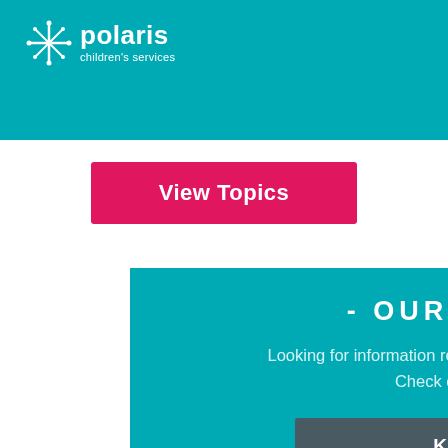[Figure (logo): Polaris Children's Services logo: white star/snowflake icon with 'polaris' in bold white and 'children's services' below, on teal background]
ou to
et you
you
[Figure (other): Hamburger menu icon (three white horizontal lines) on teal background]
View Topics
- OUR SERVICES -
Looking for information relevant to some of our specific services? Check out our services below:
Knowsley Elev8
Essex Progressions
CWAC Caring to Care
Wirral oomoo